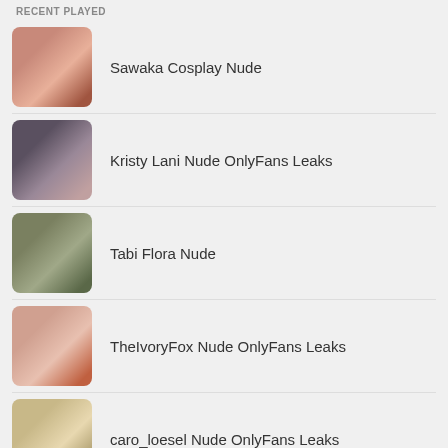RECENT PLAYED
Sawaka Cosplay Nude
Kristy Lani Nude OnlyFans Leaks
Tabi Flora Nude
TheIvoryFox Nude OnlyFans Leaks
caro_loesel Nude OnlyFans Leaks